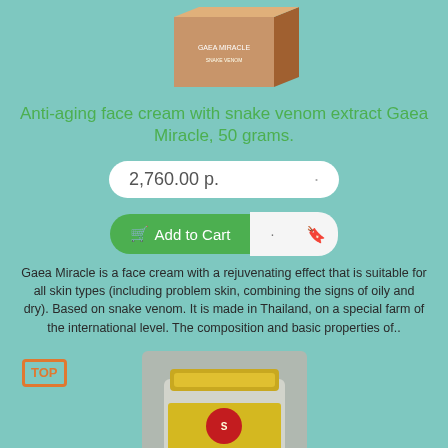[Figure (photo): Product photo of an anti-aging face cream box with snake venom extract, brown/copper colored packaging]
Anti-aging face cream with snake venom extract Gaea Miracle, 50 grams.
2,760.00 р.
🛒 Add to Cart
Gaea Miracle is a face cream with a rejuvenating effect that is suitable for all skin types (including problem skin, combining the signs of oily and dry). Based on snake venom. It is made in Thailand, on a special farm of the international level. The composition and basic properties of..
[Figure (photo): Product photo of a glass jar with golden lid containing snake venom capsules, yellow label with red logo]
Capsules based on snake venom for the treatment of skin